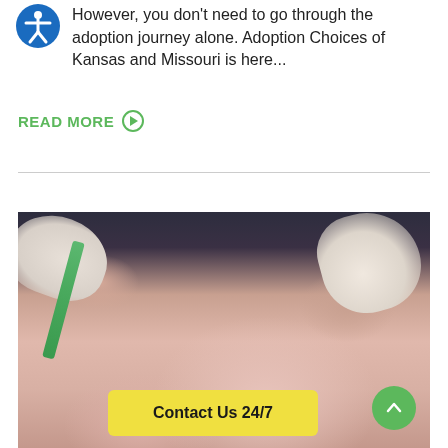However, you don't need to go through the adoption journey alone. Adoption Choices of Kansas and Missouri is here...
READ MORE →
[Figure (photo): Close-up photo of a newborn baby being handled by medical staff wearing latex gloves, with a green medical tube/suction device visible. A yellow 'Contact Us 24/7' banner overlays the bottom of the image, and a green scroll-to-top button is in the lower right corner.]